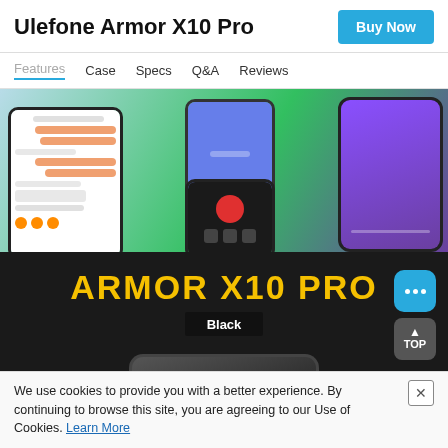Ulefone Armor X10 Pro
Buy Now
Features  Case  Specs  Q&A  Reviews
[Figure (photo): Product showcase of Ulefone Armor X10 Pro phones on green background, showing chat interface and camera control]
[Figure (photo): Dark banner with yellow bold text ARMOR X10 PRO and Black label underneath, showing top view of the phone]
We use cookies to provide you with a better experience. By continuing to browse this site, you are agreeing to our Use of Cookies. Learn More